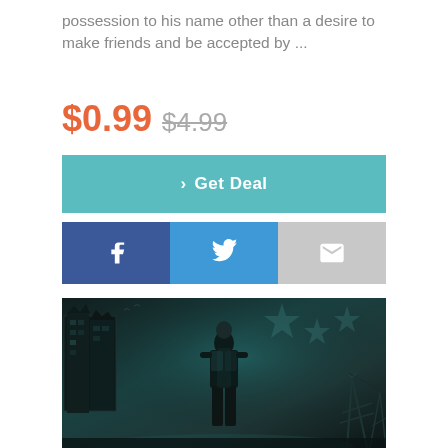possession to his name other than a desire to make friends and be accepted by ...
$0.99 $4.99
[Figure (screenshot): Get Deal button in teal/cyan color with right-arrow icon]
[Figure (screenshot): Social share buttons: Facebook (dark blue, f icon), Twitter (blue, bird icon), Email (gray, envelope icon)]
[Figure (illustration): Book cover art showing a dark post-apocalyptic scene with a warrior figure in the center, ruined buildings on the left, power towers on the right, teal-toned atmosphere with star motifs in the background]